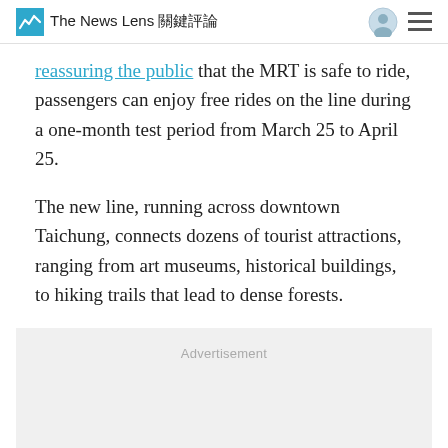The News Lens 關鍵評論
reassuring the public that the MRT is safe to ride, passengers can enjoy free rides on the line during a one-month test period from March 25 to April 25.
The new line, running across downtown Taichung, connects dozens of tourist attractions, ranging from art museums, historical buildings, to hiking trails that lead to dense forests.
[Figure (other): Advertisement placeholder box with light gray background and 'Advertisement' label text]